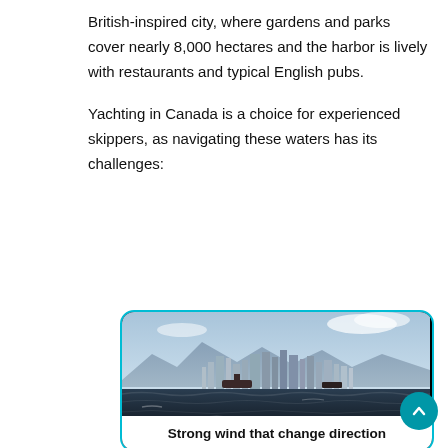British-inspired city, where gardens and parks cover nearly 8,000 hectares and the harbor is lively with restaurants and typical English pubs.

Yachting in Canada is a choice for experienced skippers, as navigating these waters has its challenges:
[Figure (photo): A city skyline visible across choppy dark water, with mountains in the background and cloudy sky. The image has a teal/cyan rounded border.]
Strong wind that change direction